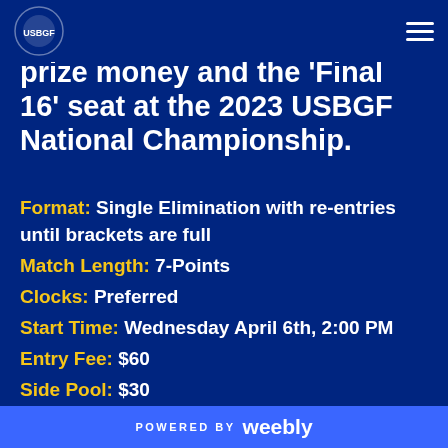prize money and the 'Final 16' seat at the 2023 USBGF National Championship.
Format: Single Elimination with re-entries until brackets are full
Match Length: 7-Points
Clocks: Preferred
Start Time: Wednesday April 6th, 2:00 PM
Entry Fee: $60
Side Pool: $30
POWERED BY weebly